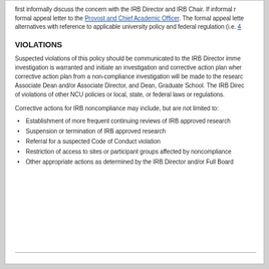first informally discuss the concern with the IRB Director and IRB Chair. If informal resolution is unsuccessful, the researcher may submit a formal appeal letter to the Provost and Chief Academic Officer. The formal appeal letter should identify the concern and propose alternatives with reference to applicable university policy and federal regulation (i.e. 4…
VIOLATIONS
Suspected violations of this policy should be communicated to the IRB Director immediately. The IRB Director will determine if an investigation is warranted and initiate an investigation and corrective action plan when appropriate. Notification of the findings and corrective action plan from a non-compliance investigation will be made to the researcher, researcher's supervisor, Department Chair, Associate Dean and/or Associate Director, and Dean, Graduate School. The IRB Director will notify the appropriate NCU officials of violations of other NCU policies or local, state, or federal laws or regulations.
Corrective actions for IRB noncompliance may include, but are not limited to:
Establishment of more frequent continuing reviews of IRB approved research
Suspension or termination of IRB approved research
Referral for a suspected Code of Conduct violation
Restriction of access to sites or participant groups affected by noncompliance
Other appropriate actions as determined by the IRB Director and/or Full Board